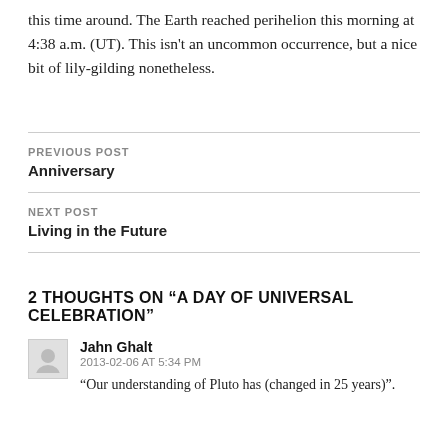this time around. The Earth reached perihelion this morning at 4:38 a.m. (UT). This isn't an uncommon occurrence, but a nice bit of lily-gilding nonetheless.
PREVIOUS POST
Anniversary
NEXT POST
Living in the Future
2 THOUGHTS ON “A DAY OF UNIVERSAL CELEBRATION”
Jahn Ghalt
2013-02-06 AT 5:34 PM
“Our understanding of Pluto has (changed in 25 years)”.